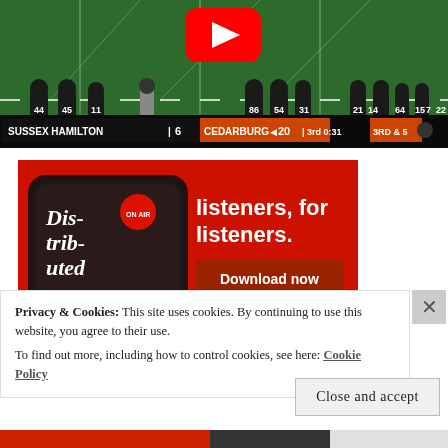[Figure (screenshot): Football game screenshot showing scoreboard: SUSSEX HAMILTON 6, CEDARBURG 20, 3rd quarter 0:31, 3RD & 5. Players with jersey numbers visible including 44, 45, 11, 86, 54, 31, 21, 14, 64, 15, 7, 22, 8, 1. YouTube play button overlay visible.]
[Figure (screenshot): Red advertisement banner for a podcast app. Shows a smartphone displaying a podcast called 'Distributed'. Text reads 'listeners, for listeners.' with a 'Download now' button.]
Privacy & Cookies: This site uses cookies. By continuing to use this website, you agree to their use.
To find out more, including how to control cookies, see here: Cookie Policy
Close and accept